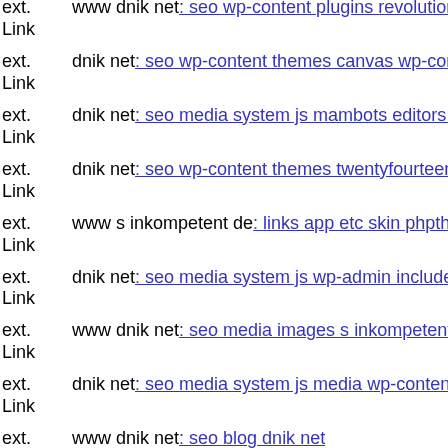ext. Link www dnik net: seo wp-content plugins revolution-slider tempjz
ext. Link dnik net: seo wp-content themes canvas wp-content themes can
ext. Link dnik net: seo media system js mambots editors jce jscripts
ext. Link dnik net: seo wp-content themes twentyfourteen m charmilles6
ext. Link www s inkompetent de: links app etc skin phpthumb php
ext. Link dnik net: seo media system js wp-admin includes plugins conte
ext. Link www dnik net: seo media images s inkompetent de
ext. Link dnik net: seo media system js media wp-content themes postlin
ext. Link www dnik net: seo blog dnik net
ext. Link s inkompetent de: links autorized php
ext. Link s inkompetent de: links manager wp-content themes bloggie s i
ext. Link dnik net: seo media system js authorize old php